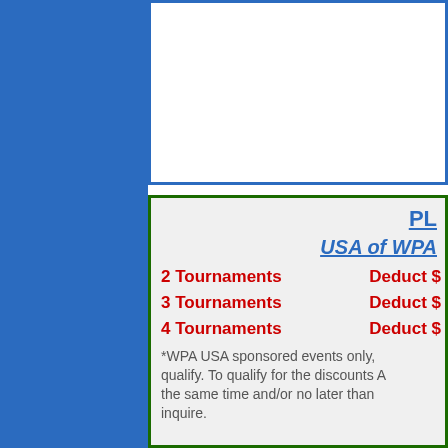PL
USA of WPA
2 Tournaments    Deduct $
3 Tournaments    Deduct $
4 Tournaments    Deduct $
*WPA USA sponsored events only, qualify. To qualify for the discounts A the same time and/or no later than inquire.